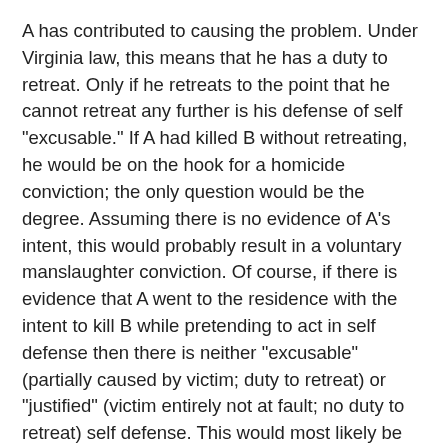A has contributed to causing the problem. Under Virginia law, this means that he has a duty to retreat. Only if he retreats to the point that he cannot retreat any further is his defense of self "excusable." If A had killed B without retreating, he would be on the hook for a homicide conviction; the only question would be the degree. Assuming there is no evidence of A's intent, this would probably result in a voluntary manslaughter conviction. Of course, if there is evidence that A went to the residence with the intent to kill B while pretending to act in self defense then there is neither "excusable" (partially caused by victim; duty to retreat) or "justified" (victim entirely not at fault; no duty to retreat) self defense. This would most likely be Murder in the Second Degree. However, I am, again as the problem seems to, assuming this evidence does not exist.
B is definitely guilty of a homicide. He shot first with only verbal provocation. The fact that he was a bad shot and missed the first time does not absolve him. It would be a jury question as to whether he was guilty of Second Degree Murder (with malice aforethought) or Voluntary Manslaughter (heat of passion). I lean toward Second Degree Murder